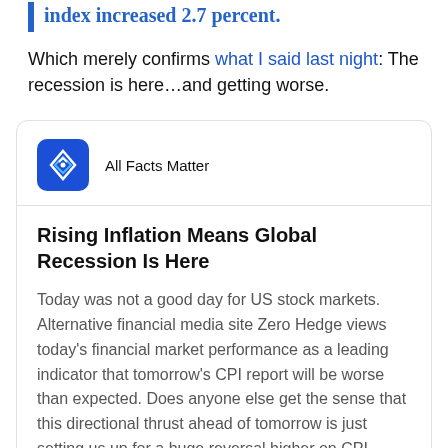index increased 2.7 percent.
Which merely confirms what I said last night: The recession is here…and getting worse.
[Figure (logo): All Facts Matter logo - blue square with white geometric icon]
Rising Inflation Means Global Recession Is Here
Today was not a good day for US stock markets. Alternative financial media site Zero Hedge views today's financial market performance as a leading indicator that tomorrow's CPI report will be worse than expected. Does anyone else get the sense that this directional thrust ahead of tomorrow is just setting us up for a huge reversal higher on CPI…